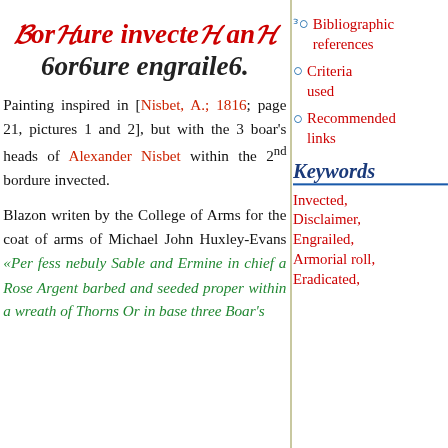Bordure invected and bordure engrailed.
Painting inspired in [Nisbet, A.; 1816; page 21, pictures 1 and 2], but with the 3 boar's heads of Alexander Nisbet within the 2nd bordure invected.
Blazon writen by the College of Arms for the coat of arms of Michael John Huxley-Evans «Per fess nebuly Sable and Ermine in chief a Rose Argent barbed and seeded proper within a wreath of Thorns Or in base three Boar's
Bibliographic references
Criteria used
Recommended links
Keywords
Invected,
Disclaimer,
Engrailed,
Armorial roll,
Eradicated,